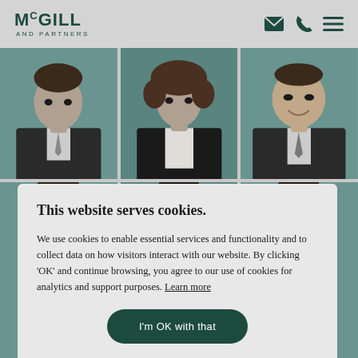[Figure (logo): McGill and Partners logo — bold green serif/sans wordmark with 'AND PARTNERS' subtitle]
[Figure (photo): Three professional headshot portraits of business executives in suits, in grayscale with green tint, arranged in a row]
[Figure (photo): Partial second row of three professional headshot portraits, visible behind cookie consent overlay]
This website serves cookies.
We use cookies to enable essential services and functionality and to collect data on how visitors interact with our website. By clicking 'OK' and continue browsing, you agree to our use of cookies for analytics and support purposes. Learn more
I'm OK with that